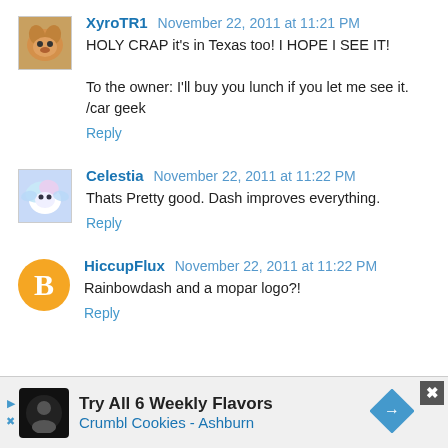[Figure (photo): Dog avatar for user XyroTR1]
XyroTR1 November 22, 2011 at 11:21 PM
HOLY CRAP it's in Texas too! I HOPE I SEE IT!

To the owner: I'll buy you lunch if you let me see it. /car geek

Reply
[Figure (illustration): Celestia avatar with fantasy character]
Celestia November 22, 2011 at 11:22 PM
Thats Pretty good. Dash improves everything.

Reply
[Figure (logo): Blogger orange B logo avatar for HiccupFlux]
HiccupFlux November 22, 2011 at 11:22 PM
Rainbowdash and a mopar logo?!

Reply
[Figure (screenshot): Crumbl Cookies advertisement banner: Try All 6 Weekly Flavors, Crumbl Cookies - Ashburn]